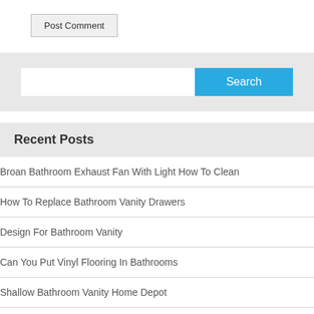Post Comment
[Figure (screenshot): Search bar with white input field and blue Search button]
Recent Posts
Broan Bathroom Exhaust Fan With Light How To Clean
How To Replace Bathroom Vanity Drawers
Design For Bathroom Vanity
Can You Put Vinyl Flooring In Bathrooms
Shallow Bathroom Vanity Home Depot
American Standard Bathroom Sinks Undermount
How To Remove A Bathroom Vanity With Sink